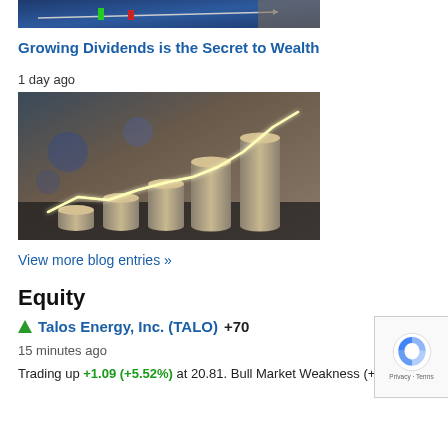[Figure (photo): Partial top image of a financial chart with a hand pointing at it, blue/dark background]
Growing Dividends is the Secret to Wealth
1 day ago
[Figure (photo): Stacks of coins increasing in height with a glowing white line chart trending upward overlaid on a blurred city background]
View more blog entries »
Equity
▲ Talos Energy, Inc. (TALO) +70
15 minutes ago
Trading up +1.09 (+5.52%) at 20.81. Bull Market Weakness (+75)